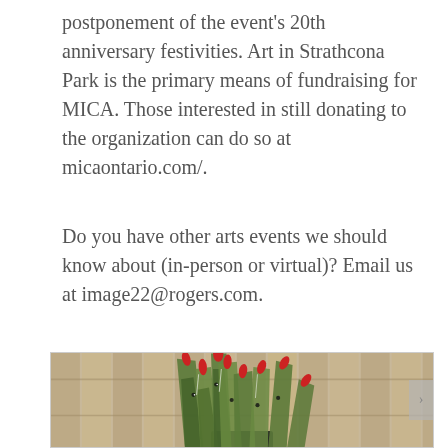postponement of the event's 20th anniversary festivities. Art in Strathcona Park is the primary means of fundraising for MICA. Those interested in still donating to the organization can do so at micaontario.com/.
Do you have other arts events we should know about (in-person or virtual)? Email us at image22@rogers.com.
[Figure (photo): A photograph of an artistic plant sculpture with long green painted leaf-like forms decorated with red accents, displayed against a wooden fence background.]